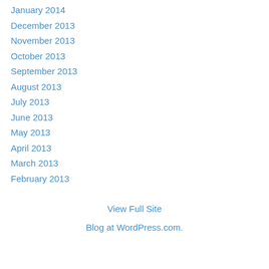January 2014
December 2013
November 2013
October 2013
September 2013
August 2013
July 2013
June 2013
May 2013
April 2013
March 2013
February 2013
View Full Site
Blog at WordPress.com.